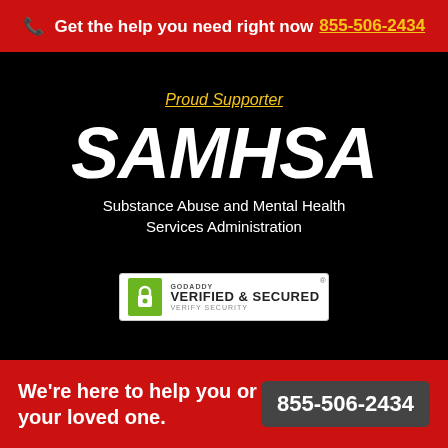📞 Get the help you need right now 855-506-2434
Proud Supporter
[Figure (logo): SAMHSA logo — bold white italic text on black background with subtitle: Substance Abuse and Mental Health Services Administration]
[Figure (logo): GoDaddy Verified & Secured badge with lock icon]
We're here to help you or your loved one.
855-506-2434